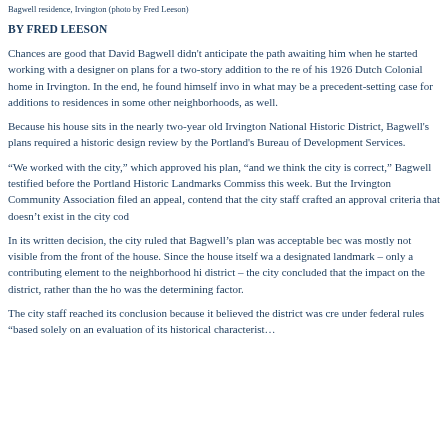Bagwell residence, Irvington (photo by Fred Leeson)
BY FRED LEESON
Chances are good that David Bagwell didn't anticipate the path awaiting him when he started working with a designer on plans for a two-story addition to the rear of his 1926 Dutch Colonial home in Irvington. In the end, he found himself involved in what may be a precedent-setting case for additions to residences in some other neighborhoods, as well.
Because his house sits in the nearly two-year old Irvington National Historic District, Bagwell's plans required a historic design review by the Portland's Bureau of Development Services.
“We worked with the city,” which approved his plan, “and we think the city is correct,” Bagwell testified before the Portland Historic Landmarks Commission this week. But the Irvington Community Association filed an appeal, contending that the city staff crafted an approval criteria that doesn't exist in the city code.
In its written decision, the city ruled that Bagwell's plan was acceptable because it was mostly not visible from the front of the house. Since the house itself was not a designated landmark – only a contributing element to the neighborhood historic district – the city concluded that the impact on the district, rather than the house, was the determining factor.
The city staff reached its conclusion because it believed the district was cre- under federal rules “based solely on an evaluation of its historical characterist